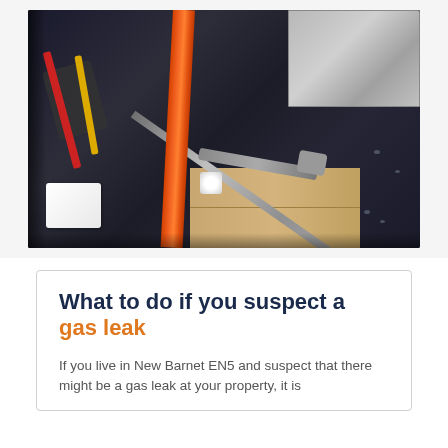[Figure (photo): Photo of a kitchen counter with dark granite worktop showing an orange gas pipe, various tools including pliers and a wrench, a small white cap/nut, and a white object in the lower left. A stainless steel sink is visible in the top right. Cabinet woodwork is visible below the counter.]
What to do if you suspect a gas leak
If you live in New Barnet EN5 and suspect that there might be a gas leak at your property, it is